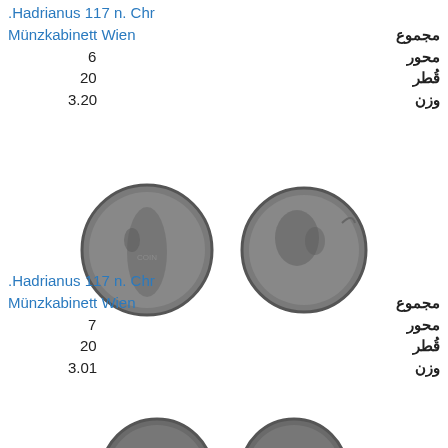.Hadrianus 117 n. Chr
Münzkabinett Wien
مجموع
محور  6
قُطر  20
وزن  3.20
[Figure (photo): Two ancient Roman coins showing obverse and reverse sides]
.Hadrianus 117 n. Chr
Münzkabinett Wien
مجموع
محور  7
قُطر  20
وزن  3.01
[Figure (photo): Two ancient Roman coins partially visible at bottom]